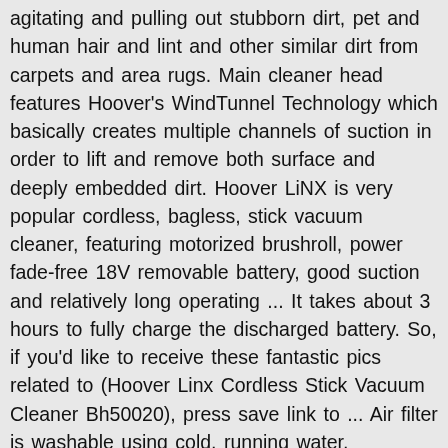agitating and pulling out stubborn dirt, pet and human hair and lint and other similar dirt from carpets and area rugs. Main cleaner head features Hoover's WindTunnel Technology which basically creates multiple channels of suction in order to lift and remove both surface and deeply embedded dirt. Hoover LiNX is very popular cordless, bagless, stick vacuum cleaner, featuring motorized brushroll, power fade-free 18V removable battery, good suction and relatively long operating ... It takes about 3 hours to fully charge the discharged battery. So, if you'd like to receive these fantastic pics related to (Hoover Linx Cordless Stick Vacuum Cleaner Bh50020), press save link to ... Air filter is washable using cold, running water, decreasing the operating costs. You have declined cookies. It is not convertible unit or 2-in-1 unit or anything similar - but it is optimized to do its job well and that is the reason why it is one of the most popular cordless stick vacuums for years. Review (mpn: BH50020 for sale) BH50020 HOOVER Linx Signature Lightweight Multi-floor Cordless Stick Vacuum 073502043660 18V WASHABLE FILTER ENERGY STAR FREE SHIPPING However, if this is the case, you will need to restart...